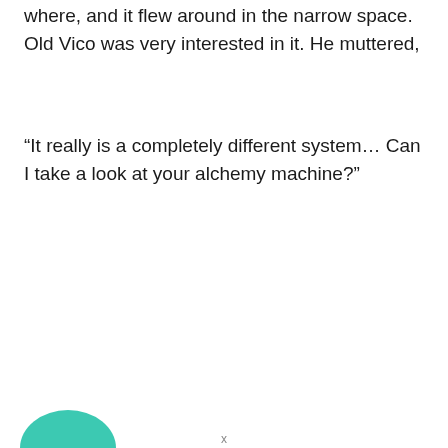where, and it flew around in the narrow space. Old Vico was very interested in it. He muttered,
“It really is a completely different system… Can I take a look at your alchemy machine?”
x